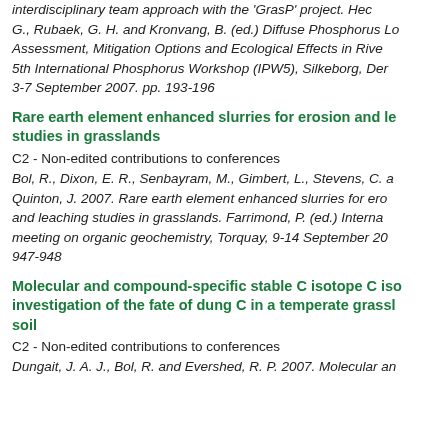interdisciplinary team approach with the 'GrasP' project. Heck, G., Rubaek, G. H. and Kronvang, B. (ed.) Diffuse Phosphorus Loss: Assessment, Mitigation Options and Ecological Effects in River Basins. 5th International Phosphorus Workshop (IPW5), Silkeborg, Denmark, 3-7 September 2007. pp. 193-196
Rare earth element enhanced slurries for erosion and leaching studies in grasslands
C2 - Non-edited contributions to conferences
Bol, R., Dixon, E. R., Senbayram, M., Gimbert, L., Stevens, C. and Quinton, J. 2007. Rare earth element enhanced slurries for erosion and leaching studies in grasslands. Farrimond, P. (ed.) International meeting on organic geochemistry, Torquay, 9-14 September 2007. pp. 947-948
Molecular and compound-specific stable C isotope C isotope investigation of the fate of dung C in a temperate grassland soil
C2 - Non-edited contributions to conferences
Dungait, J. A. J., Bol, R. and Evershed, R. P. 2007. Molecular and compound-specific stable C isotope investigation of the fate of dung C in a temperate grassland soil